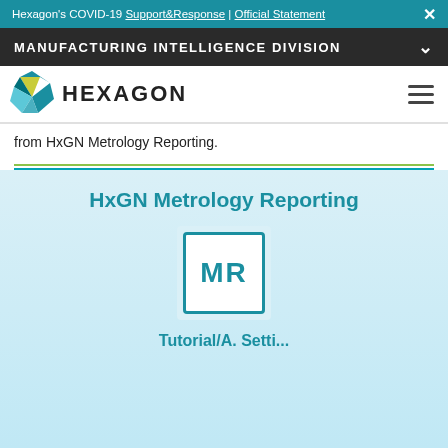Hexagon's COVID-19 Support & Response | Official Statement
MANUFACTURING INTELLIGENCE DIVISION
[Figure (logo): Hexagon logo with teal and yellow geometric shapes and HEXAGON wordmark]
from HxGN Metrology Reporting.
HxGN Metrology Reporting
[Figure (logo): MR product icon — square border with MR letters in teal]
Tutorial/A. Setti...